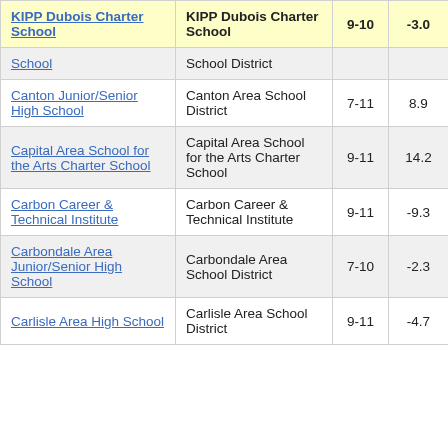| School | District/Organization | Grades | Change |  |
| --- | --- | --- | --- | --- |
| KIPP Dubois Charter School | KIPP Dubois Charter School | 9-10 | -3.0 | 3 |
| [partial] School | School District |  |  |  |
| Canton Junior/Senior High School | Canton Area School District | 7-11 | 8.9 |  |
| Capital Area School for the Arts Charter School | Capital Area School for the Arts Charter School | 9-11 | 14.2 |  |
| Carbon Career & Technical Institute | Carbon Career & Technical Institute | 9-11 | -9.3 |  |
| Carbondale Area Junior/Senior High School | Carbondale Area School District | 7-10 | -2.3 |  |
| Carlisle Area High School | Carlisle Area School District | 9-11 | -4.7 |  |